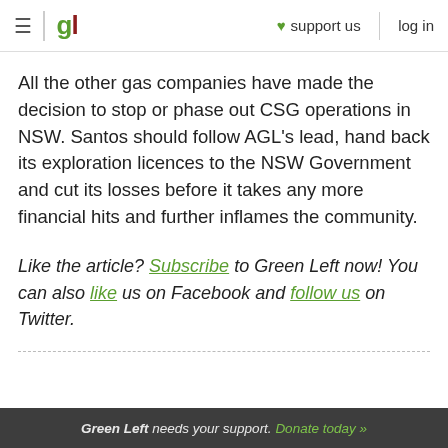≡ | gl ♥ support us  log in
All the other gas companies have made the decision to stop or phase out CSG operations in NSW. Santos should follow AGL's lead, hand back its exploration licences to the NSW Government and cut its losses before it takes any more financial hits and further inflames the community.
Like the article? Subscribe to Green Left now! You can also like us on Facebook and follow us on Twitter.
Green Left needs your support. Donate today »